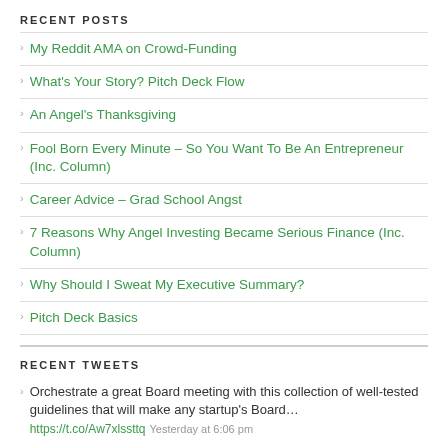RECENT POSTS
My Reddit AMA on Crowd-Funding
What's Your Story? Pitch Deck Flow
An Angel's Thanksgiving
Fool Born Every Minute – So You Want To Be An Entrepreneur (Inc. Column)
Career Advice – Grad School Angst
7 Reasons Why Angel Investing Became Serious Finance (Inc. Column)
Why Should I Sweat My Executive Summary?
Pitch Deck Basics
RECENT TWEETS
Orchestrate a great Board meeting with this collection of well-tested guidelines that will make any startup's Board… https://t.co/Aw7xlssttq Yesterday at 6:06 pm